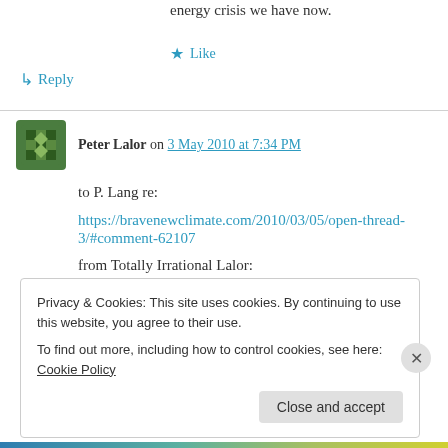energy crisis we have now.
★ Like
↳ Reply
Peter Lalor on 3 May 2010 at 7:34 PM
to P. Lang re:
https://bravenewclimate.com/2010/03/05/open-thread-3/#comment-62107
from Totally Irrational Lalor:
Privacy & Cookies: This site uses cookies. By continuing to use this website, you agree to their use.
To find out more, including how to control cookies, see here: Cookie Policy